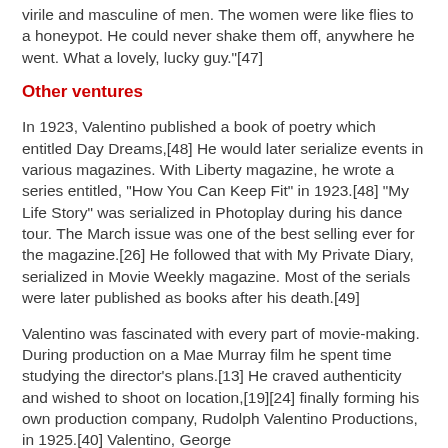virile and masculine of men. The women were like flies to a honeypot. He could never shake them off, anywhere he went. What a lovely, lucky guy."[47]
Other ventures
In 1923, Valentino published a book of poetry which entitled Day Dreams,[48] He would later serialize events in various magazines. With Liberty magazine, he wrote a series entitled, "How You Can Keep Fit" in 1923.[48] "My Life Story" was serialized in Photoplay during his dance tour. The March issue was one of the best selling ever for the magazine.[26] He followed that with My Private Diary, serialized in Movie Weekly magazine. Most of the serials were later published as books after his death.[49]
Valentino was fascinated with every part of movie-making. During production on a Mae Murray film he spent time studying the director's plans.[13] He craved authenticity and wished to shoot on location,[19][24] finally forming his own production company, Rudolph Valentino Productions, in 1925.[40] Valentino, George